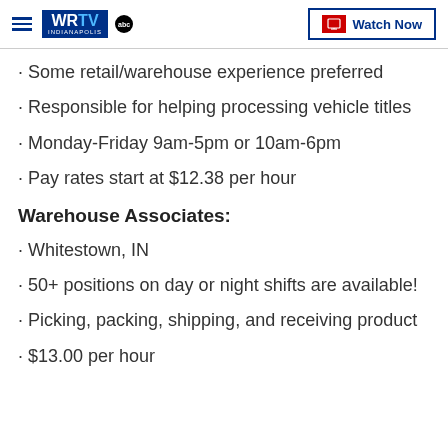WRTV INDIANAPOLIS | Watch Now
· Some retail/warehouse experience preferred
· Responsible for helping processing vehicle titles
· Monday-Friday 9am-5pm or 10am-6pm
· Pay rates start at $12.38 per hour
Warehouse Associates:
· Whitestown, IN
· 50+ positions on day or night shifts are available!
· Picking, packing, shipping, and receiving product
· $13.00 per hour